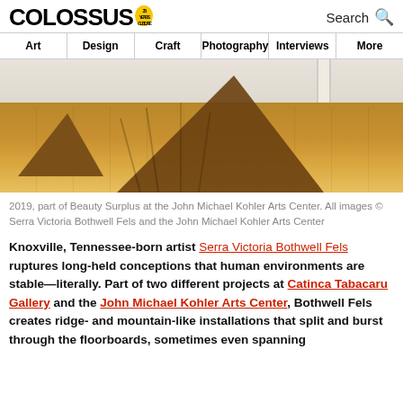COLOSSUS [25 YEARS CULTURE badge] Search
Art | Design | Craft | Photography | Interviews | More
[Figure (photo): Installation photo showing ridge-like cardboard or wood forms rising from a hardwood floor, passing through a doorway in a white-walled room. 2019, part of Beauty Surplus at the John Michael Kohler Arts Center.]
2019, part of Beauty Surplus at the John Michael Kohler Arts Center. All images © Serra Victoria Bothwell Fels and the John Michael Kohler Arts Center
Knoxville, Tennessee-born artist Serra Victoria Bothwell Fels ruptures long-held conceptions that human environments are stable—literally. Part of two different projects at Catinca Tabacaru Gallery and the John Michael Kohler Arts Center, Bothwell Fels creates ridge- and mountain-like installations that split and burst through the floorboards, sometimes even spanning multiple rooms. With light reinforced to echo the rough